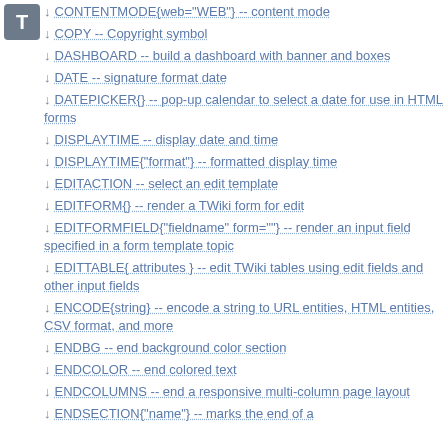[Figure (logo): Gray rounded square icon with white letter T]
CONTENTMODE{web="WEB"} -- content mode
COPY -- Copyright symbol
DASHBOARD -- build a dashboard with banner and boxes
DATE -- signature format date
DATEPICKER{} -- pop-up calendar to select a date for use in HTML forms
DISPLAYTIME -- display date and time
DISPLAYTIME{"format"} -- formatted display time
EDITACTION -- select an edit template
EDITFORM{} -- render a TWiki form for edit
EDITFORMFIELD{"fieldname" form=""} -- render an input field specified in a form template topic
EDITTABLE{ attributes } -- edit TWiki tables using edit fields and other input fields
ENCODE{string} -- encode a string to URL entities, HTML entities, CSV format, and more
ENDBG -- end background color section
ENDCOLOR -- end colored text
ENDCOLUMNS -- end a responsive multi-column page layout
ENDSECTION{"name"} -- marks the end of a